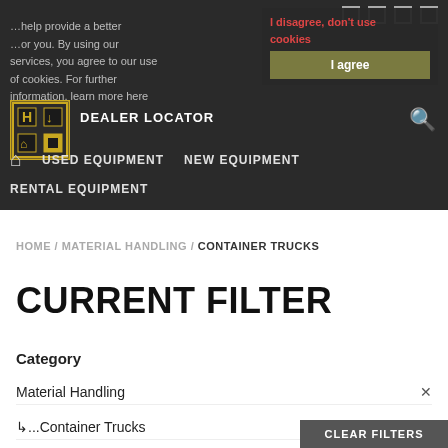Hyster website navigation header with logo, cookie notice, dealer locator, and navigation links: Home, Used Equipment, New Equipment, Rental Equipment
HOME / MATERIAL HANDLING / CONTAINER TRUCKS
CURRENT FILTER
Category
Material Handling
L...Container Trucks